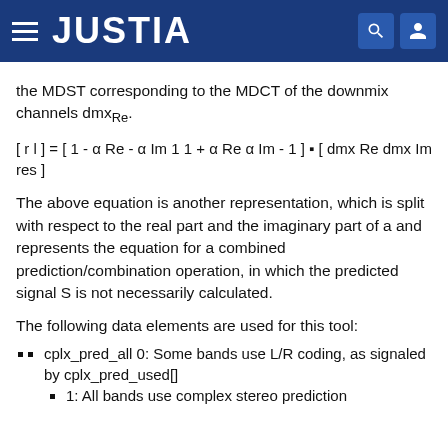JUSTIA
the MDST corresponding to the MDCT of the downmix channels dmxRe.
The above equation is another representation, which is split with respect to the real part and the imaginary part of a and represents the equation for a combined prediction/combination operation, in which the predicted signal S is not necessarily calculated.
The following data elements are used for this tool:
cplx_pred_all 0: Some bands use L/R coding, as signaled by cplx_pred_used[]
1: All bands use complex stereo prediction